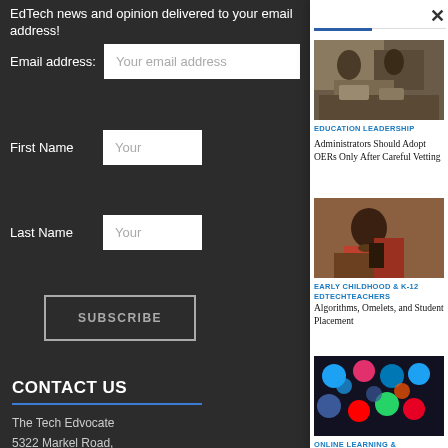EdTech news and opinion delivered to your email address!
Email address: Your email address
First Name Your
Last Name Your
SUBSCRIBE
CONTACT US
The Tech Edvocate
5322 Markel Road,
Richmond, VA 2323
(601) 630-5238
advocatefored@gr
×
[Figure (photo): Photo of people in a classroom or meeting around a table with laptops]
EDUCATION LEADERSHIP
Administrators Should Adopt OERs Only After Careful Vetting
[Figure (photo): Photo of a young student writing or drawing]
EARLY CHILDHOOD & K-12 EDTECHTEACHERS
Algorithms, Omelets, and Student Placement
[Figure (photo): Photo of a smartphone screen showing social media apps including LinkedIn, Facebook, Twitter, Pinterest]
ONLINE LEARNING & ELEARNINGPRODUCT REVIEWS
Product Review of Tell About This